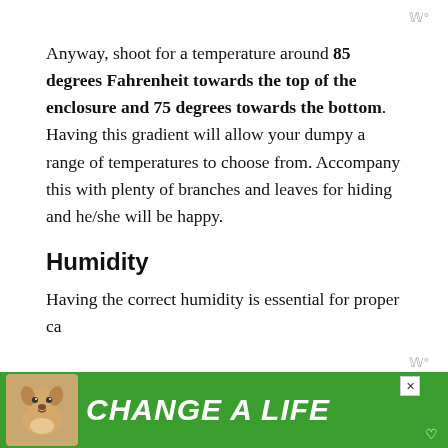w°
Anyway, shoot for a temperature around 85 degrees Fahrenheit towards the top of the enclosure and 75 degrees towards the bottom. Having this gradient will allow your dumpy a range of temperatures to choose from. Accompany this with plenty of branches and leaves for hiding and he/she will be happy.
Humidity
Having the correct humidity is essential for proper ca...he
[Figure (other): Green advertisement banner with dog image and text 'CHANGE A LIFE' with a close button]
w°